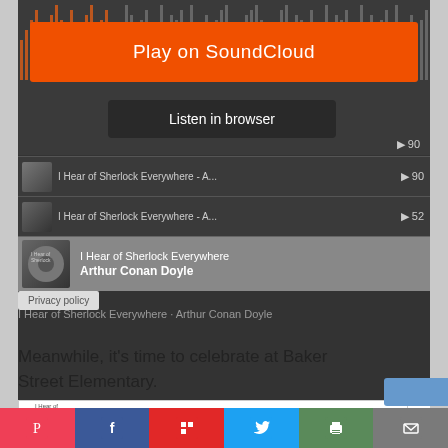[Figure (screenshot): SoundCloud embedded player widget showing waveform, orange Play on SoundCloud button, Listen in browser tooltip, and track list for 'I Hear of Sherlock Everywhere' by Arthur Conan Doyle]
I Hear of Sherlock Everywhere · Arthur Conan Doyle
Meanwhile, it's time to celebrate at Baker Street Elementary.
[Figure (illustration): Comic strip panel with text 'WHEN I WAS A CHILD, I COULDN'T']
Pocket | Facebook | Flipboard | Twitter | Print | Email